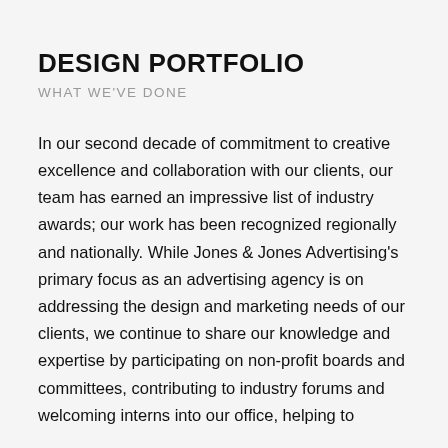DESIGN PORTFOLIO
WHAT WE'VE DONE
In our second decade of commitment to creative excellence and collaboration with our clients, our team has earned an impressive list of industry awards; our work has been recognized regionally and nationally. While Jones & Jones Advertising's primary focus as an advertising agency is on addressing the design and marketing needs of our clients, we continue to share our knowledge and expertise by participating on non-profit boards and committees, contributing to industry forums and welcoming interns into our office, helping to